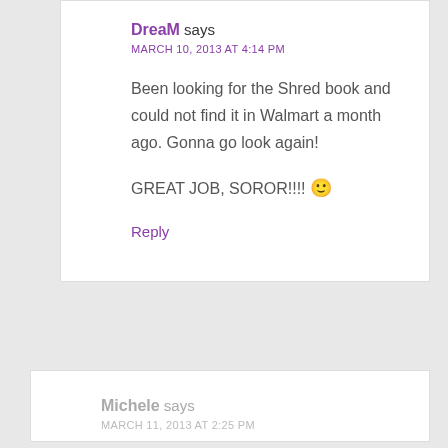DreaM says
MARCH 10, 2013 AT 4:14 PM
Been looking for the Shred book and could not find it in Walmart a month ago. Gonna go look again!
GREAT JOB, SOROR!!!! 🙂
Reply
Michele says
MARCH 11, 2013 AT 2:25 PM